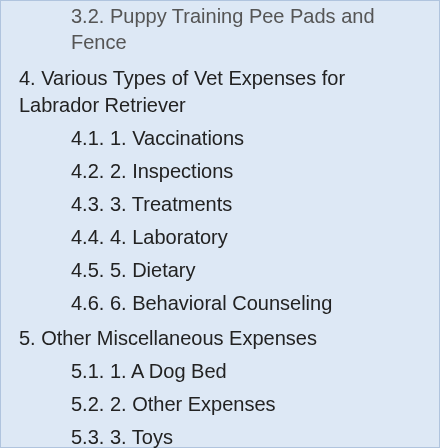3.2. Puppy Training Pee Pads and Fence
4. Various Types of Vet Expenses for Labrador Retriever
4.1. 1. Vaccinations
4.2. 2. Inspections
4.3. 3. Treatments
4.4. 4. Laboratory
4.5. 5. Dietary
4.6. 6. Behavioral Counseling
5. Other Miscellaneous Expenses
5.1. 1. A Dog Bed
5.2. 2. Other Expenses
5.3. 3. Toys
6. Grand Total of all Costs (Ballpark Figure)
7. Despite the Costs, Benefits of Owning a Labrador retriever